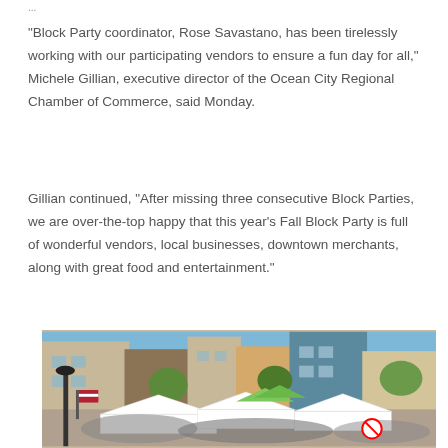“Block Party coordinator, Rose Savastano, has been tirelessly working with our participating vendors to ensure a fun day for all,” Michele Gillian, executive director of the Ocean City Regional Chamber of Commerce, said Monday.
Gillian continued, “After missing three consecutive Block Parties, we are over-the-top happy that this year’s Fall Block Party is full of wonderful vendors, local businesses, downtown merchants, along with great food and entertainment.”
[Figure (photo): Outdoor block party scene with crowds of people, white vendor tents, green umbrellas, and multi-story brick buildings in the background under a blue sky.]